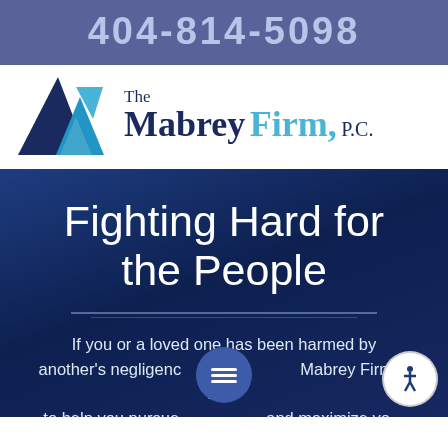404-814-5098
[Figure (logo): The Mabrey Firm, P.C. logo with blue geometric mountain/arrow icon]
Fighting Hard for the People
If you or a loved one has been harmed by another's negligence, the Mabrey Firm is here to help you pursue and maximize your